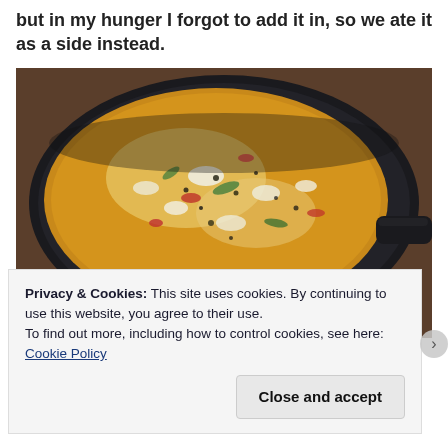but in my hunger I forgot to add it in, so we ate it as a side instead.
[Figure (photo): A frittata or omelette with vegetables and cheese cooking in a dark non-stick skillet on a wooden surface.]
Privacy & Cookies: This site uses cookies. By continuing to use this website, you agree to their use.
To find out more, including how to control cookies, see here: Cookie Policy
Close and accept